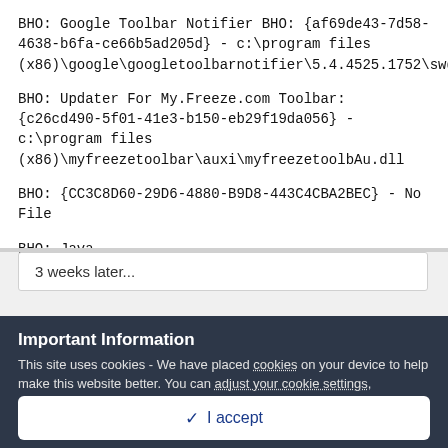BHO: Google Toolbar Notifier BHO: {af69de43-7d58-4638-b6fa-ce66b5ad205d} - c:\program files (x86)\google\googletoolbarnotifier\5.4.4525.1752\swg.dll
BHO: Updater For My.Freeze.com Toolbar: {c26cd490-5f01-41e3-b150-eb29f19da056} - c:\program files (x86)\myfreezetoolbar\auxi\myfreezetoolbAu.dll
BHO: {CC3C8D60-29D6-4880-B9D8-443C4CBA2BEC} - No File
BHO: Java
3 weeks later...
Important Information
This site uses cookies - We have placed cookies on your device to help make this website better. You can adjust your cookie settings, otherwise we'll assume you're okay to continue.
✓  I accept